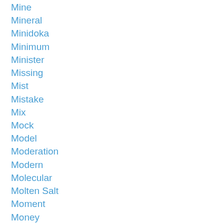Mine
Mineral
Minidoka
Minimum
Minister
Missing
Mist
Mistake
Mix
Mock
Model
Moderation
Modern
Molecular
Molten Salt
Moment
Money
Mood
Moon
Moons
Moore